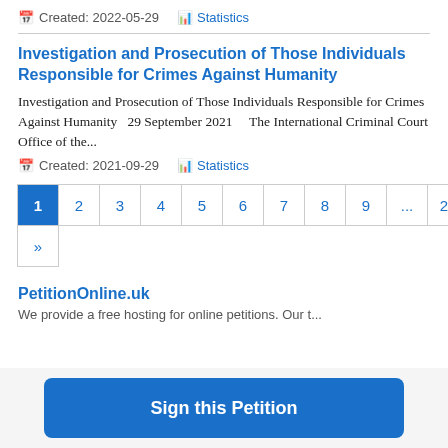Created: 2022-05-29   Statistics
Investigation and Prosecution of Those Individuals Responsible for Crimes Against Humanity
Investigation and Prosecution of Those Individuals Responsible for Crimes Against Humanity   29 September 2021     The International Criminal Court Office of the...
Created: 2021-09-29   Statistics
Pagination: 1 2 3 4 5 6 7 8 9 ... 20  »
PetitionOnline.uk
We provide a free hosting for online petitions. Our t...
Sign this Petition